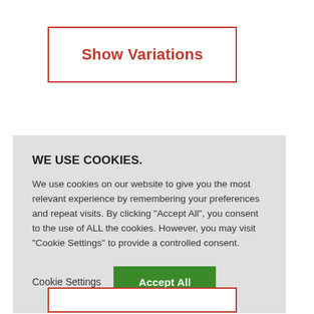[Figure (screenshot): A button with red border and red text reading 'Show Variations' on white background]
WE USE COOKIES.
We use cookies on our website to give you the most relevant experience by remembering your preferences and repeat visits. By clicking "Accept All", you consent to the use of ALL the cookies. However, you may visit "Cookie Settings" to provide a controlled consent.
Cookie Settings | Accept All